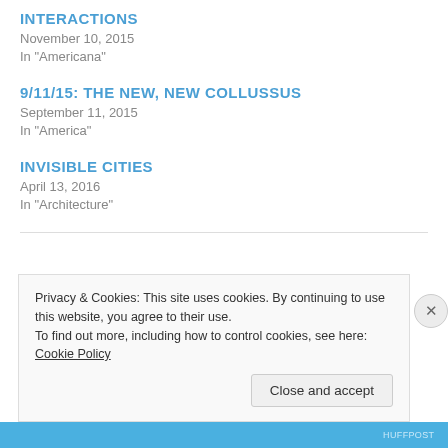INTERACTIONS
November 10, 2015
In "Americana"
9/11/15: THE NEW, NEW COLLUSSUS
September 11, 2015
In "America"
INVISIBLE CITIES
April 13, 2016
In "Architecture"
Privacy & Cookies: This site uses cookies. By continuing to use this website, you agree to their use.
To find out more, including how to control cookies, see here: Cookie Policy
Close and accept